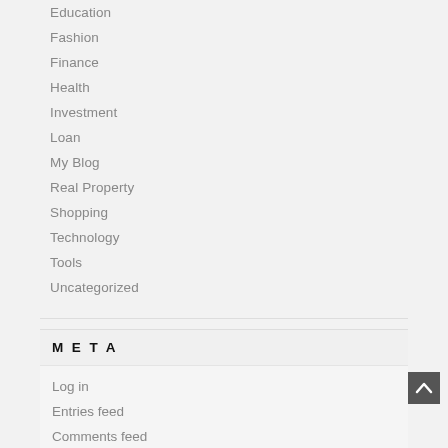Education
Fashion
Finance
Health
Investment
Loan
My Blog
Real Property
Shopping
Technology
Tools
Uncategorized
META
Log in
Entries feed
Comments feed
WordPress.org